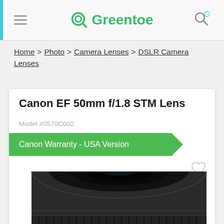Greentoe
Home > Photo > Camera Lenses > DSLR Camera Lenses
Canon EF 50mm f/1.8 STM Lens
Model #0570C002
Canon Warranty - USA Version
[Figure (photo): Canon EF 50mm f/1.8 STM Lens viewed from the front at an angle, showing the black lens body with ribbed focus ring]